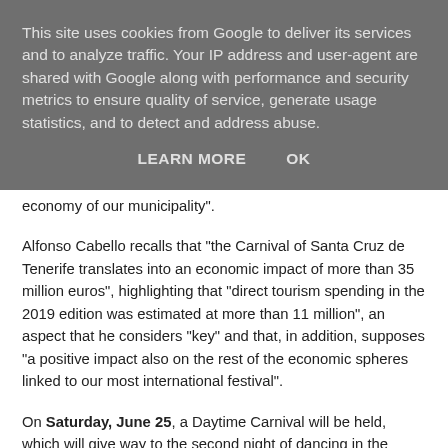This site uses cookies from Google to deliver its services and to analyze traffic. Your IP address and user-agent are shared with Google along with performance and security metrics to ensure quality of service, generate usage statistics, and to detect and address abuse.
LEARN MORE   OK
economy of our municipality".
Alfonso Cabello recalls that "the Carnival of Santa Cruz de Tenerife translates into an economic impact of more than 35 million euros", highlighting that "direct tourism spending in the 2019 edition was estimated at more than 11 million", an aspect that he considers “key” and that, in addition, supposes “a positive impact also on the rest of the economic spheres linked to our most international festival”.
On Saturday, June 25, a Daytime Carnival will be held, which will give way to the second night of dancing in the street. On Sunday, June 26, in addition to another Daytime Carnival day, the Rhythm and Harmony contest will take place.